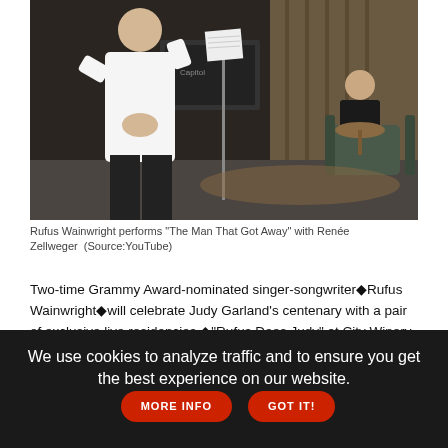[Figure (photo): Rufus Wainwright performs on stage at a microphone stand with sheet music, wearing a white shirt, with Renée Zellweger seated in background in a dark studio setting.]
Rufus Wainwright performs "The Man That Got Away" with Renée Zellweger  (Source:YouTube)
Two-time Grammy Award-nominated singer-songwriter♦Rufus Wainwright♦will celebrate Judy Garland's centenary with a pair of exclusive live residencies,♦"Rufus Does Judy" at City Winery, set for City Winery in New York City (June 5, 7, 8, 10) and Chicago (June 16-17).
Today, Wainwright and his band announced that the performances will feature special guests including♦Laura Benanti♦(June 5),♦Mx
We use cookies to analyze traffic and to ensure you get the best experience on our website.